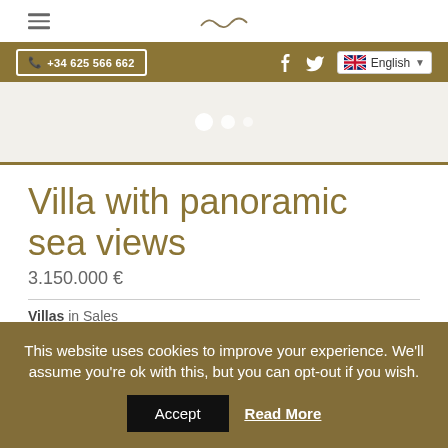+34 625 566 662
[Figure (screenshot): Image slider area with navigation dots]
Villa with panoramic sea views
3.150.000 €
Villas in Sales
This website uses cookies to improve your experience. We'll assume you're ok with this, but you can opt-out if you wish. Accept  Read More